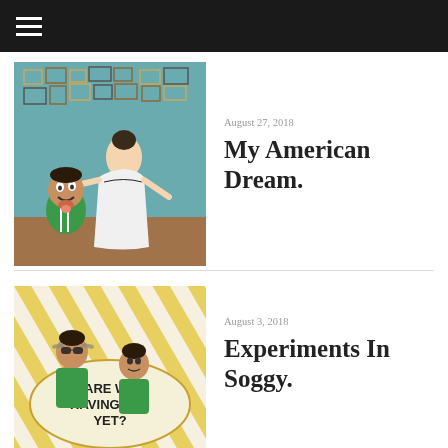≡ (hamburger menu)
[Figure (photo): Woman in a white wedding dress with black floral pattern standing in a room with teal walls covered in framed pictures; a young boy in a green Adidas soccer jersey is making a funny face in the foreground]
August 27, 2018
My American Dream.
[Figure (photo): Two children posing in front of a large painted sign that reads 'ARE WE HAVING FUN YET?' with gold and white stripes in the background]
August 3, 2018
Experiments In Soggy.